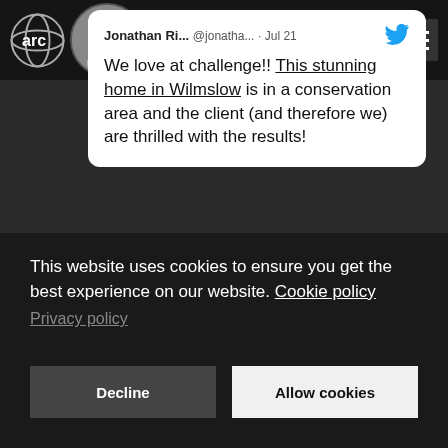[Figure (screenshot): Arc logo — circular globe-like icon with 'arc' text]
[Figure (photo): Circular avatar photo of a person]
Jonathan Ri... @jonatha... · Jul 21
We love at challenge!! This stunning home in Wilmslow is in a conservation area and the client (and therefore we) are thrilled with the results!
[Figure (logo): Twitter bird logo icon in blue]
This website uses cookies to ensure you get the best experience on our website. Cookie policy
Privacy policy
Decline
Allow cookies